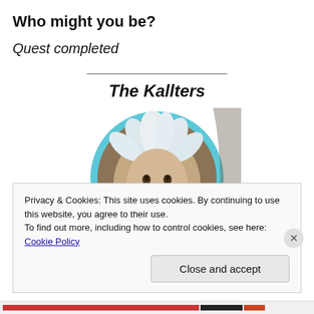Who might you be?
Quest completed
The Kallters
[Figure (illustration): Circular image with cyan/blue border showing a painted artistic portrait of a figure with white feathered headdress and ruffled collar, reminiscent of a Pierrot or jester character.]
Privacy & Cookies: This site uses cookies. By continuing to use this website, you agree to their use.
To find out more, including how to control cookies, see here: Cookie Policy